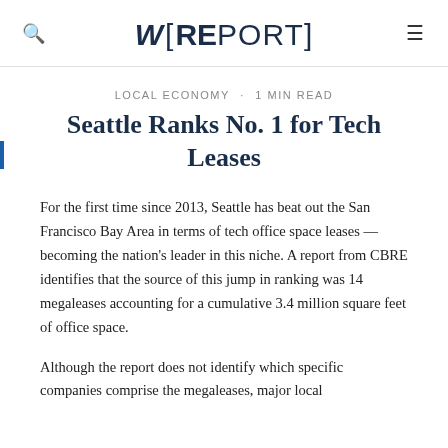W[REPORT]
LOCAL ECONOMY · 1 min read
Seattle Ranks No. 1 for Tech Leases
For the first time since 2013, Seattle has beat out the San Francisco Bay Area in terms of tech office space leases — becoming the nation's leader in this niche. A report from CBRE identifies that the source of this jump in ranking was 14 megaleases accounting for a cumulative 3.4 million square feet of office space.
Although the report does not identify which specific companies comprise the megaleases, major local